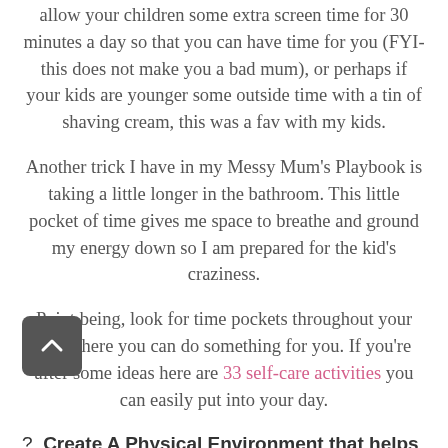allow your children some extra screen time for 30 minutes a day so that you can have time for you (FYI- this does not make you a bad mum), or perhaps if your kids are younger some outside time with a tin of shaving cream, this was a fav with my kids.
Another trick I have in my Messy Mum's Playbook is taking a little longer in the bathroom. This little pocket of time gives me space to breathe and ground my energy down so I am prepared for the kid's craziness.
Point being, look for time pockets throughout your day where you can do something for you. If you're after some ideas here are 33 self-care activities you can easily put into your day.
? Create A Physical Environment that helps